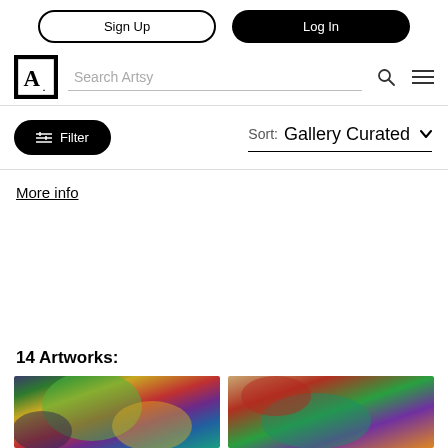Sign Up | Log In
Search Artsy
Filter  Sort: Gallery Curated
More info
14 Artworks:
[Figure (photo): Two artwork thumbnails side by side — left shows colorful abstract painting with green, yellow, red hues; right shows another abstract piece with red, green, teal colors on tan background]